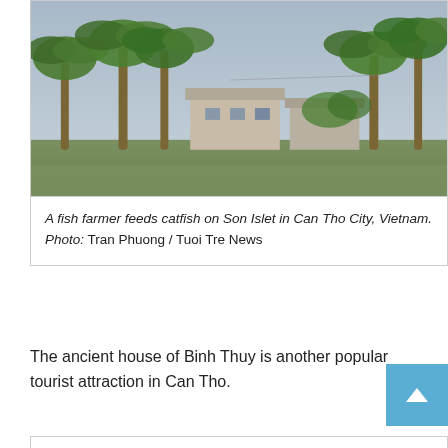[Figure (photo): A fish farmer feeds catfish on Son Islet in Can Tho City, Vietnam. Photo shows palm trees, buildings/houses, and green vegetation along a waterway.]
A fish farmer feeds catfish on Son Islet in Can Tho City, Vietnam. Photo: Tran Phuong / Tuoi Tre News
The ancient house of Binh Thuy is another popular tourist attraction in Can Tho.